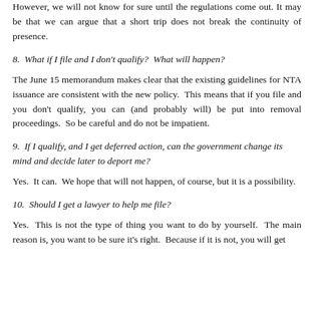However, we will not know for sure until the regulations come out. It may be that we can argue that a short trip does not break the continuity of presence.
8.  What if I file and I don't qualify?  What will happen?
The June 15 memorandum makes clear that the existing guidelines for NTA issuance are consistent with the new policy.  This means that if you file and you don't qualify, you can (and probably will) be put into removal proceedings.  So be careful and do not be impatient.
9.  If I qualify, and I get deferred action, can the government change its mind and decide later to deport me?
Yes.  It can.  We hope that will not happen, of course, but it is a possibility.
10.  Should I get a lawyer to help me file?
Yes.  This is not the type of thing you want to do by yourself.  The main reason is, you want to be sure it's right.  Because if it is not, you will get